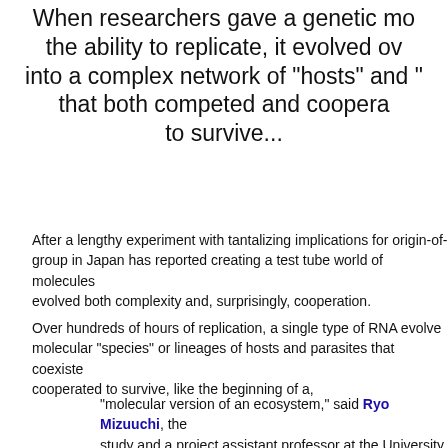When researchers gave a genetic mo the ability to replicate, it evolved ov into a complex network of "hosts" and " that both competed and coopera to survive...
After a lengthy experiment with tantalizing implications for origin-of-life research, a group in Japan has reported creating a test tube world of molecules that competed and evolved both complexity and, surprisingly, cooperation.
Over hundreds of hours of replication, a single type of RNA evolved into five distinct molecular "species" or lineages of hosts and parasites that coexisted, competed, and cooperated to survive, like the beginning of a,
"molecular version of an ecosystem," said Ryo Mizuuchi, the lead author of the study and a project assistant professor at the University of To
Their experiment, which confirmed previous theoretical findings, sh... the means to replicate could spontaneously develop complexity thr...
"a critical step for the emergence of life," the researchers wro...
"We can provide the direct evidence: we can see what can ac...